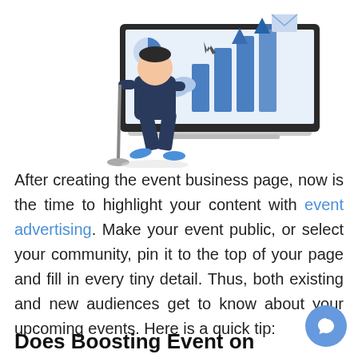[Figure (illustration): Illustration of a person with a laptop showing bar charts and analytics icons, depicting digital marketing or event promotion]
After creating the event business page, now is the time to highlight your content with event advertising. Make your event public, or select your community, pin it to the top of your page and fill in every tiny detail. Thus, both existing and new audiences get to know about your upcoming events. Here is a quick tip:
Does Boosting Event on